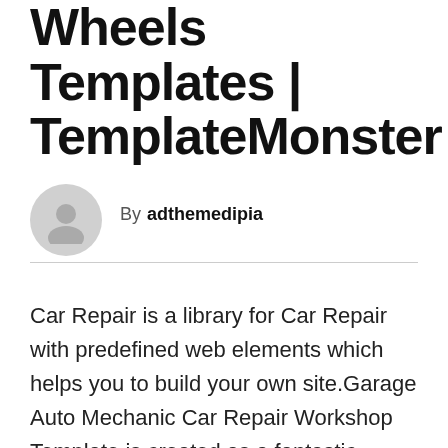Wheels Templates | TemplateMonster
By adthemedipia
Car Repair is a library for Car Repair with predefined web elements which helps you to build your own site.Garage Auto Mechanic Car Repair Workshop Template is created as a fantastic solution for any cars and automobile websites, cars repair workshops, car blogs, car services and other industrial websites that require special cars niche functionality and car servicing presentation Key Features!Unbounce